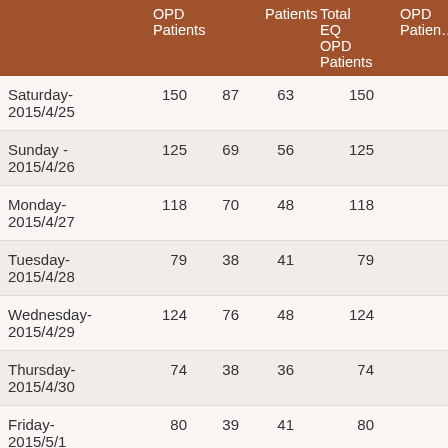|  | OPD Patients |  | Patients |  | Total EQ OPD Patients | OPD Patien… |
| --- | --- | --- | --- | --- | --- | --- |
| Saturday-
2015/4/25 | 150 | 87 | 63 |  | 150 |  |
| Sunday -
2015/4/26 | 125 | 69 | 56 |  | 125 |  |
| Monday-
2015/4/27 | 118 | 70 | 48 |  | 118 |  |
| Tuesday-
2015/4/28 | 79 | 38 | 41 |  | 79 |  |
| Wednesday-
2015/4/29 | 124 | 76 | 48 |  | 124 |  |
| Thursday-
2015/4/30 | 74 | 38 | 36 |  | 74 |  |
| Friday-
2015/5/1 | 80 | 39 | 41 |  | 80 |  |
| Saturday- | 63 | 36 | 27 |  | 63 |  |